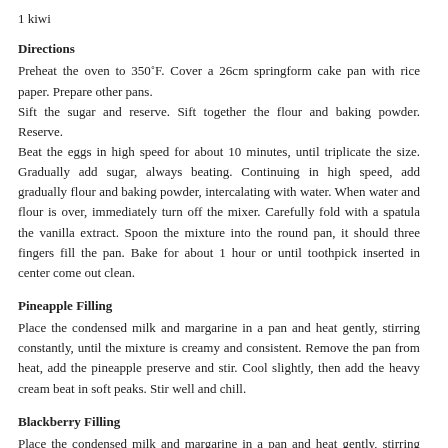1 kiwi
Directions
Preheat the oven to 350˚F. Cover a 26cm springform cake pan with rice paper. Prepare other pans.
Sift the sugar and reserve. Sift together the flour and baking powder. Reserve.
Beat the eggs in high speed for about 10 minutes, until triplicate the size. Gradually add sugar, always beating. Continuing in high speed, add gradually flour and baking powder, intercalating with water. When water and flour is over, immediately turn off the mixer. Carefully fold with a spatula the vanilla extract. Spoon the mixture into the round pan, it should three fingers fill the pan. Bake for about 1 hour or until toothpick inserted in center come out clean.
Pineapple Filling
Place the condensed milk and margarine in a pan and heat gently, stirring constantly, until the mixture is creamy and consistent. Remove the pan from heat, add the pineapple preserve and stir. Cool slightly, then add the heavy cream beat in soft peaks. Stir well and chill.
Blackberry Filling
Place the condensed milk and margarine in a pan and heat gently, stirring constantly, until the mixture is creamy and consistent. Remove the pan from heat,